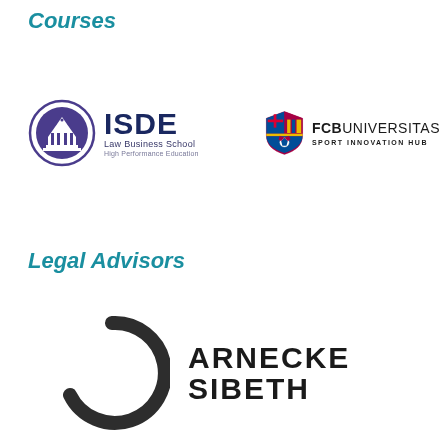Courses
[Figure (logo): ISDE Law Business School High Performance Education logo — circular purple crest with academic figures, next to bold navy text ISDE with Law Business School subtitle]
[Figure (logo): FCB Universitas Sport Innovation Hub logo — FC Barcelona shield crest above bold text FCBUNIVERSITAS SPORT INNOVATION HUB]
Legal Advisors
[Figure (logo): Arnecke Sibeth logo — dark grey circular arc / incomplete ring shape next to bold text ARNECKE SIBETH in two lines]